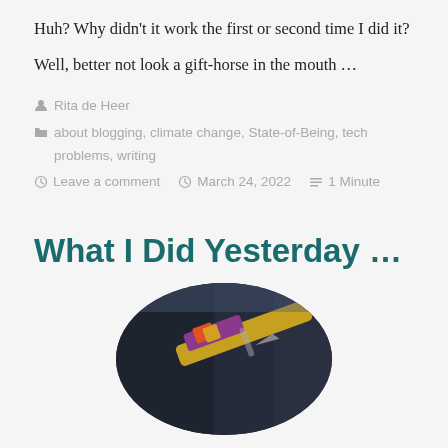Huh? Why didn't it work the first or second time I did it?
Well, better not look a gift-horse in the mouth …
Rita de Heer
about blogging, climate change, State-of-Being, tech problems, writing
Leave a comment  March 24, 2022  1 Minute
What I Did Yesterday …
[Figure (photo): Circular cropped photo showing what appears to be a decorative pen or writing instrument with colorful design, lying on dark fabric or denim]